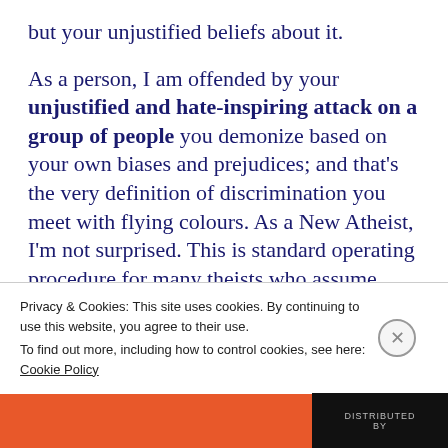but your unjustified beliefs about it.
As a person, I am offended by your unjustified and hate-inspiring attack on a group of people you demonize based on your own biases and prejudices; and that's the very definition of discrimination you meet with flying colours. As a New Atheist, I'm not surprised. This is standard operating procedure for many theists who assume pious belief is good... because it's supposedly good. Not sharing this 'good' belief
Privacy & Cookies: This site uses cookies. By continuing to use this website, you agree to their use.
To find out more, including how to control cookies, see here: Cookie Policy
Close and accept